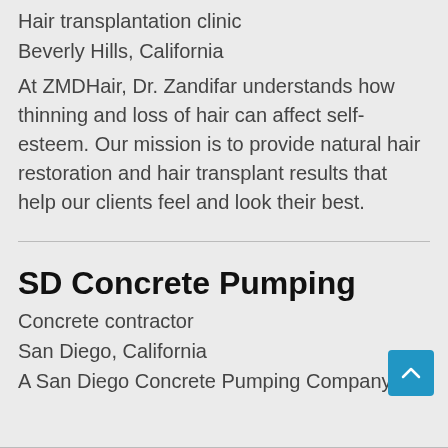Hair transplantation clinic
Beverly Hills, California
At ZMDHair, Dr. Zandifar understands how thinning and loss of hair can affect self-esteem. Our mission is to provide natural hair restoration and hair transplant results that help our clients feel and look their best.
SD Concrete Pumping
Concrete contractor
San Diego, California
A San Diego Concrete Pumping Company